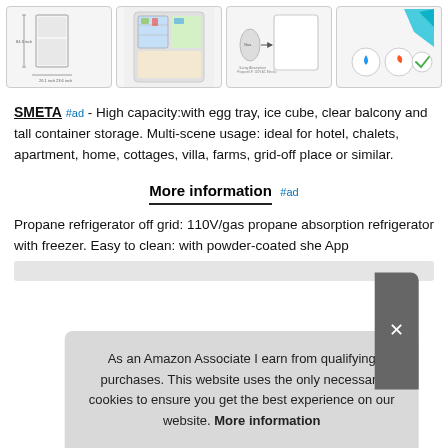[Figure (photo): Four product images of a propane refrigerator shown in a horizontal row]
SMETA #ad - High capacity:with egg tray, ice cube, clear balcony and tall container storage. Multi-scene usage: ideal for hotel, chalets, apartment, home, cottages, villa, farms, grid-off place or similar.
More information #ad
Propane refrigerator off grid: 110V/gas propane absorption refrigerator with freezer. Easy to clean: with powder-coated she... App...
As an Amazon Associate I earn from qualifying purchases. This website uses the only necessary cookies to ensure you get the best experience on our website. More information